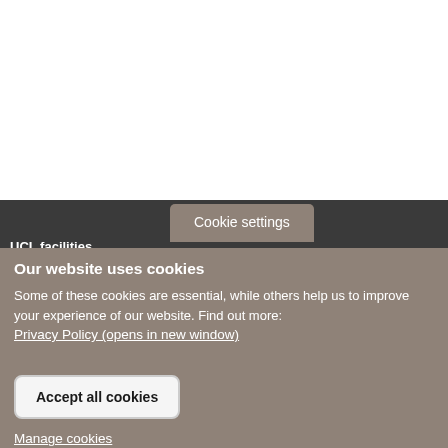[Figure (screenshot): White area representing the top portion of a UCL website page, partially obscured by a cookie consent overlay.]
UCL facilities
Cookie settings
Our website uses cookies
Some of these cookies are essential, while others help us to improve your experience of our website. Find out more: Privacy Policy (opens in new window)
Accept all cookies
Manage cookies